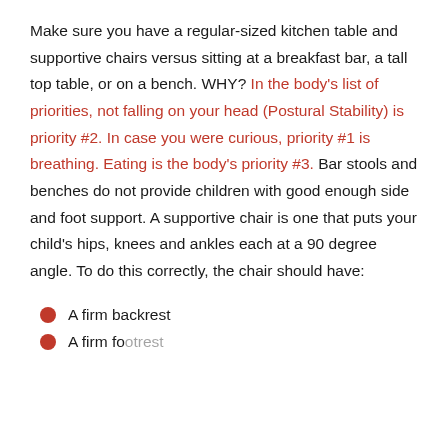Make sure you have a regular-sized kitchen table and supportive chairs versus sitting at a breakfast bar, a tall top table, or on a bench. WHY? In the body's list of priorities, not falling on your head (Postural Stability) is priority #2. In case you were curious, priority #1 is breathing. Eating is the body's priority #3. Bar stools and benches do not provide children with good enough side and foot support. A supportive chair is one that puts your child's hips, knees and ankles each at a 90 degree angle. To do this correctly, the chair should have:
A firm backrest
A firm footrest